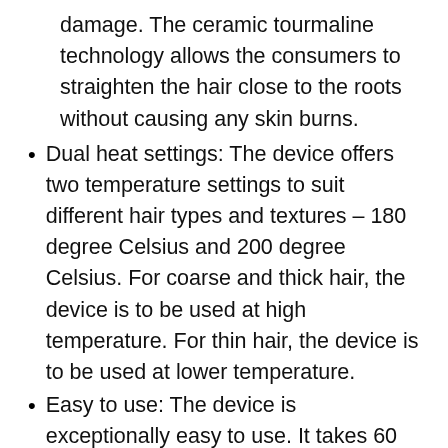damage. The ceramic tourmaline technology allows the consumers to straighten the hair close to the roots without causing any skin burns.
Dual heat settings: The device offers two temperature settings to suit different hair types and textures – 180 degree Celsius and 200 degree Celsius. For coarse and thick hair, the device is to be used at high temperature. For thin hair, the device is to be used at lower temperature.
Easy to use: The device is exceptionally easy to use. It takes 60 seconds to heat and about 3 minutes to straighten the hair. The 360-degree swivel power cord prevents wire twinning and entanglement, facilitating its easy and effective use.